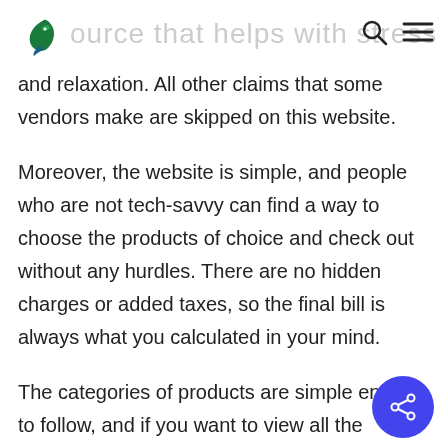Art Life logo, search and menu icons
and relaxation. All other claims that some vendors make are skipped on this website.
Moreover, the website is simple, and people who are not tech-savvy can find a way to choose the products of choice and check out without any hurdles. There are no hidden charges or added taxes, so the final bill is always what you calculated in your mind.
The categories of products are simple enough to follow, and if you want to view all the products to see the pricing,